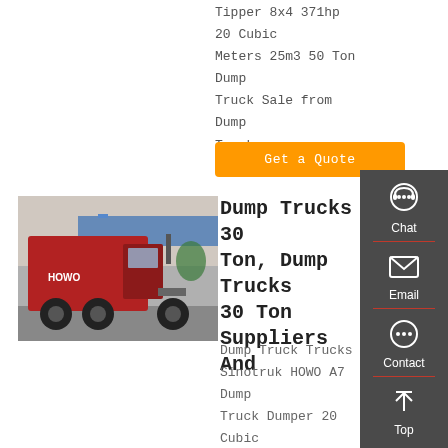Tipper 8x4 371hp 20 Cubic Meters 25m3 50 Ton Dump Truck Sale from Dump Trucks …
Get a Quote
[Figure (photo): Red Sinotruk HOWO dump truck/tractor unit parked at a depot with blue roofing visible in the background.]
Dump Trucks 30 Ton, Dump Trucks 30 Ton Suppliers And
Dump Truck Trucks Sinotruk HOWO A7 Dump Truck Dumper 20 Cubic Meters 8x4 Sinotruk Howo Used Dump Trucks/tipper